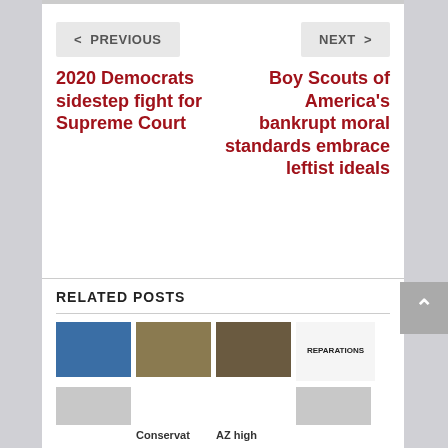< PREVIOUS
NEXT >
2020 Democrats sidestep fight for Supreme Court
Boy Scouts of America's bankrupt moral standards embrace leftist ideals
RELATED POSTS
[Figure (photo): Woman in grey blazer, news broadcast style photo]
[Figure (photo): Older man in interview or broadcast setting]
[Figure (photo): Judge's gavel on legal documents]
[Figure (photo): Word cloud centered on REPARATIONS]
Conservat
AZ high